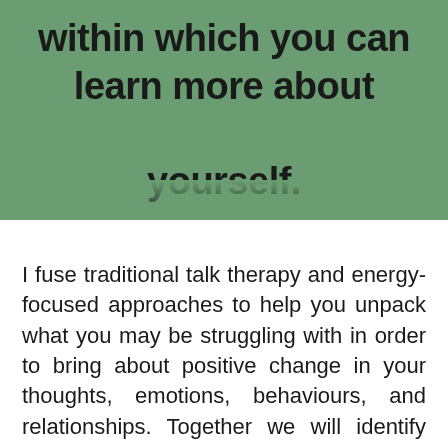within which you can learn more about yourself.
I fuse traditional talk therapy and energy-focused approaches to help you unpack what you may be struggling with in order to bring about positive change in your thoughts, emotions, behaviours, and relationships. Together we will identify what is holding you back from living the life you want and create momentum to change.